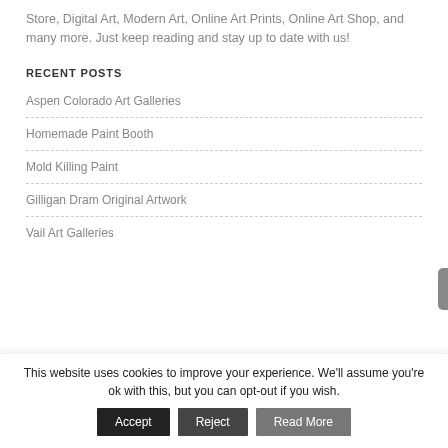Store, Digital Art, Modern Art, Online Art Prints, Online Art Shop, and many more. Just keep reading and stay up to date with us!
RECENT POSTS
Aspen Colorado Art Galleries
Homemade Paint Booth
Mold Killing Paint
Gilligan Dram Original Artwork
Vail Art Galleries
This website uses cookies to improve your experience. We'll assume you're ok with this, but you can opt-out if you wish.